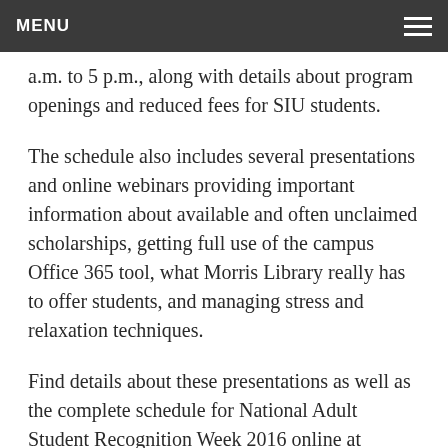MENU
a.m. to 5 p.m., along with details about program openings and reduced fees for SIU students.
The schedule also includes several presentations and online webinars providing important information about available and often unclaimed scholarships, getting full use of the campus Office 365 tool, what Morris Library really has to offer students, and managing stress and relaxation techniques.
Find details about these presentations as well as the complete schedule for National Adult Student Recognition Week 2016 online at www.nontrad.siu.edu.